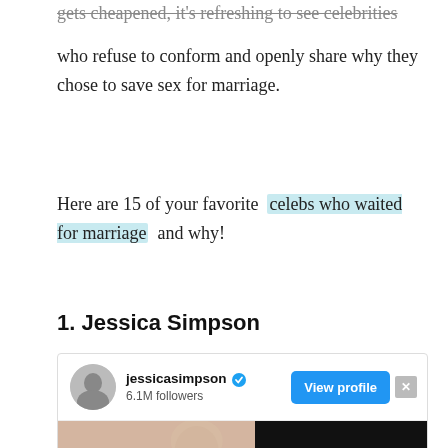gets cheapened, it's refreshing to see celebrities who refuse to conform and openly share why they chose to save sex for marriage.
Here are 15 of your favorite celebs who waited for marriage and why!
1. Jessica Simpson
[Figure (screenshot): Instagram profile card for jessicasimpson with 6.1M followers, a View profile button, and a partial image showing a blonde woman on the left half and a black video loading screen on the right half.]